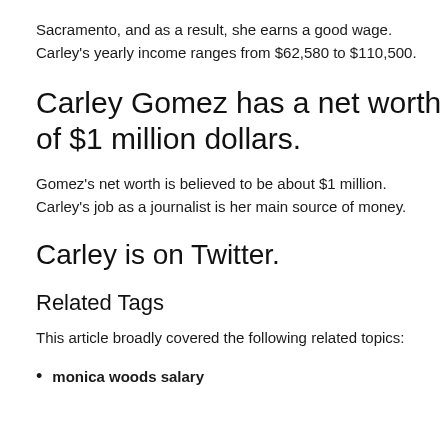Sacramento, and as a result, she earns a good wage. Carley's yearly income ranges from $62,580 to $110,500.
Carley Gomez has a net worth of $1 million dollars.
Gomez's net worth is believed to be about $1 million. Carley's job as a journalist is her main source of money.
Carley is on Twitter.
Related Tags
This article broadly covered the following related topics:
monica woods salary